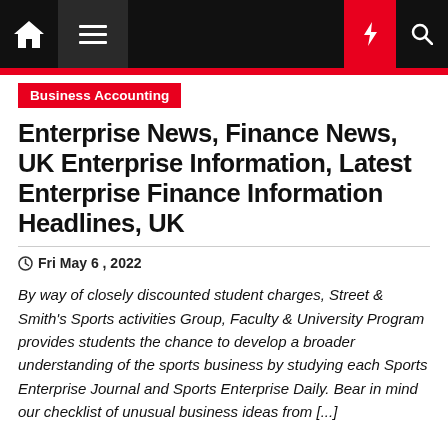Navigation bar with home, menu, dark mode, lightning, and search icons
Business Accounting
Enterprise News, Finance News, UK Enterprise Information, Latest Enterprise Finance Information Headlines, UK
Fri May 6, 2022
By way of closely discounted student charges, Street & Smith's Sports activities Group, Faculty & University Program provides students the chance to develop a broader understanding of the sports business by studying each Sports Enterprise Journal and Sports Enterprise Daily. Bear in mind our checklist of unusual business ideas from [...]